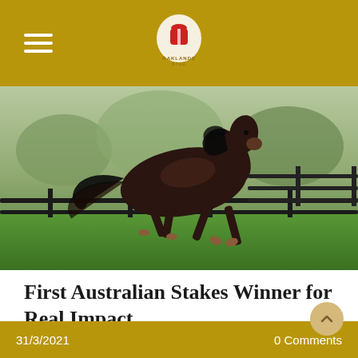Oaklands Stud — Navigation header with hamburger menu and logo
[Figure (photo): A dark bay thoroughbred horse galloping freely on a green paddock with black post-and-rail fencing and trees in the background.]
First Australian Stakes Winner for Real Impact
31/3/2021   0 Comments